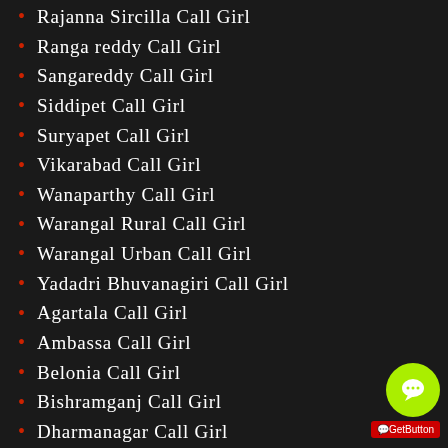Rajanna Sircilla Call Girl
Ranga reddy Call Girl
Sangareddy Call Girl
Siddipet Call Girl
Suryapet Call Girl
Vikarabad Call Girl
Wanaparthy Call Girl
Warangal Rural Call Girl
Warangal Urban Call Girl
Yadadri Bhuvanagiri Call Girl
Agartala Call Girl
Ambassa Call Girl
Belonia Call Girl
Bishramganj Call Girl
Dharmanagar Call Girl
Kailashahar Call Girl
Khowai Call Girl
Udaipur Call Girl
Almora Call Girl
Bageshwar Call Girl